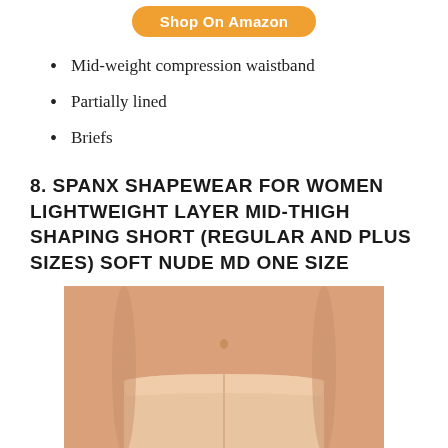[Figure (other): Orange rounded button labeled 'Shop On Amazon']
Mid-weight compression waistband
Partially lined
Briefs
8. SPANX SHAPEWEAR FOR WOMEN LIGHTWEIGHT LAYER MID-THIGH SHAPING SHORT (REGULAR AND PLUS SIZES) SOFT NUDE MD ONE SIZE
[Figure (photo): Product photo of a woman wearing nude/beige SPANX shapewear shorts, cropped to show torso and upper thighs]